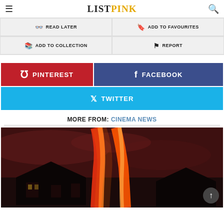ListPink
READ LATER
ADD TO FAVOURITES
ADD TO COLLECTION
REPORT
PINTEREST
FACEBOOK
TWITTER
MORE FROM: CINEMA NEWS
[Figure (photo): Movie promotional image showing a figure with orange/red tones against a dark backdrop with a house silhouette]